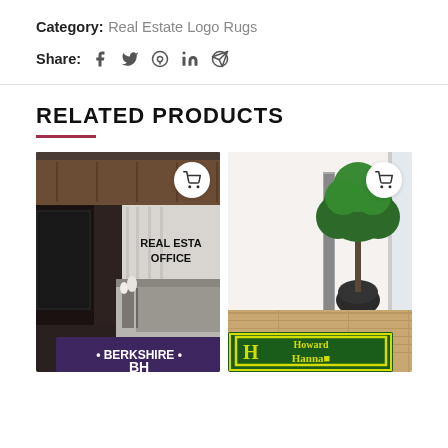Category: Real Estate Logo Rugs
Share:
RELATED PRODUCTS
[Figure (photo): Interior of a real estate office with dark wood paneling, a reception desk, white vases, and a logo rug with BH (Berkshire Hathaway) branding visible on the floor. Text on wall reads REAL ESTATE OFFICE.]
[Figure (photo): Modern office lobby with hardwood floor, a potted tree, glass walls, and a green Howard Hanna branded logo rug on the floor.]